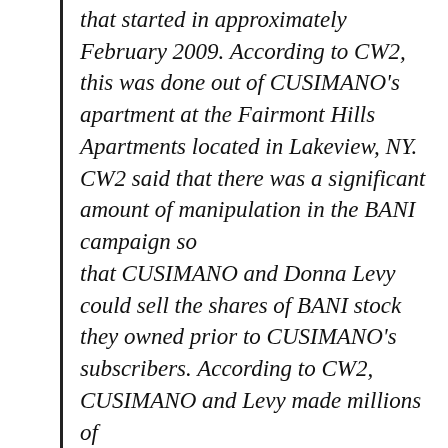that started in approximately February 2009. According to CW2, this was done out of CUSIMANO's apartment at the Fairmont Hills Apartments located in Lakeview, NY. CW2 said that there was a significant amount of manipulation in the BANI campaign so that CUSIMANO and Donna Levy could sell the shares of BANI stock they owned prior to CUSIMANO's subscribers. According to CW2, CUSIMANO and Levy made millions of the BANI campaign.